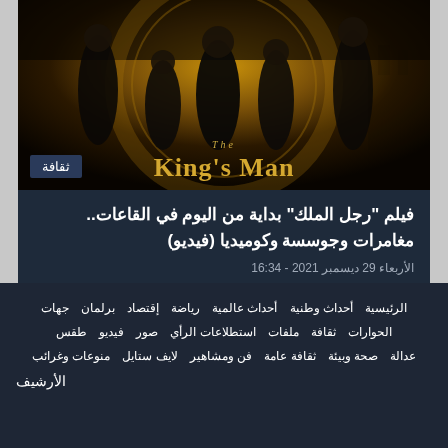[Figure (photo): The King's Man movie poster showing several characters in period clothing with a golden circular logo background]
فيلم "رجل الملك" بداية من اليوم في القاعات.. مغامرات وجوسسة وكوميديا (فيديو)
الأربعاء 29 ديسمبر 2021 - 16:34
الرئيسية  أحداث وطنية  أحداث عالمية  رياضة  إقتصاد  برلمان  جهات
الحوارات  ثقافة  ملفات  استطلاعات الرأي  صور  فيديو  طقس
عدالة  صحة وبيئة  ثقافة عامة  فن ومشاهير  لايف ستايل  منوعات وغرائب
الأرشيف